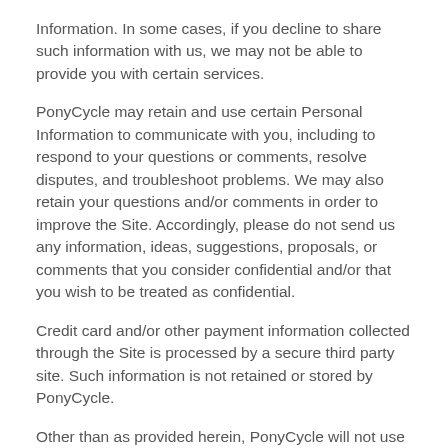Information. In some cases, if you decline to share such information with us, we may not be able to provide you with certain services.
PonyCycle may retain and use certain Personal Information to communicate with you, including to respond to your questions or comments, resolve disputes, and troubleshoot problems. We may also retain your questions and/or comments in order to improve the Site. Accordingly, please do not send us any information, ideas, suggestions, proposals, or comments that you consider confidential and/or that you wish to be treated as confidential.
Credit card and/or other payment information collected through the Site is processed by a secure third party site. Such information is not retained or stored by PonyCycle.
Other than as provided herein, PonyCycle will not use your Personal Information, or disclose or share your Personal Information with third parties, without your consent. You may modify or correct your Personal Information at any time by accessing your account on the Site. To protect your privacy and